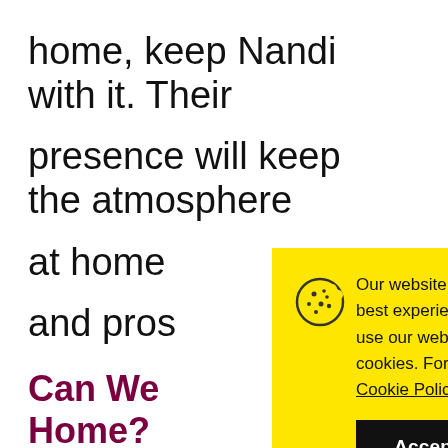home, keep Nandi with it. Their presence will keep the atmosphere at home and pros
Can We Home?
HC rules
citizens to keep the soil for personal
Our website uses cookies to provide you the best experience. However, by continuing to use our website, you agree to our use of cookies. For more information, read our Cookie Policy.
Accept